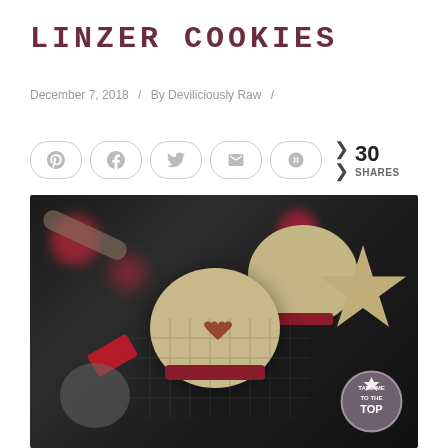LINZER COOKIES
December 7, 2018  /  By Deviliciously Raw  /
[Figure (other): Five social sharing buttons (Pinterest, Facebook, Twitter, Email, Yummly) followed by a share count showing 30 SHARES]
[Figure (photo): Close-up photo of Linzer cookies on a dark wire cooling rack. The cookies are sandwich cookies filled with red jam and have heart-shaped or star-shaped cutouts on top. Dark moody background with red bokeh lights and Christmas decorations. A 'Take me to the top' watermark badge appears in the bottom right corner.]